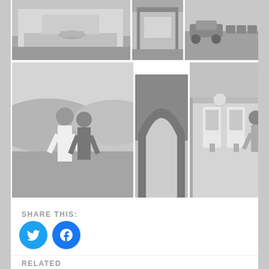[Figure (photo): Grid of black and white vintage photographs showing buildings, cars, people, and a gas station]
SHARE THIS:
[Figure (logo): Twitter share button - blue circle with bird icon]
[Figure (logo): Facebook share button - blue circle with F icon]
RELATED
O.R. Willard's Resort
March 7, 2019
In "History"
Jim Terry, the Old Man at Deep Lake
October 10, 2018
In "History"
Jean Willard saves the babies!